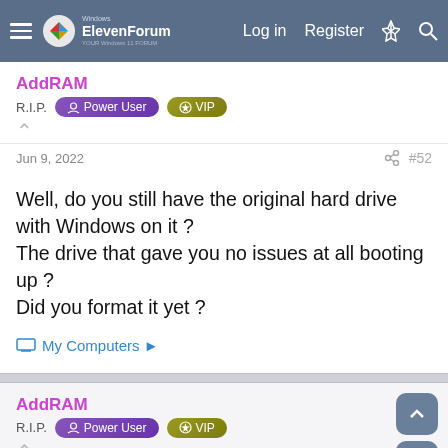ElevenForum | Log in | Register
AddRAM
R.I.P. Power User VIP
Jun 9, 2022 #52
Well, do you still have the original hard drive with Windows on it ?
The drive that gave you no issues at all booting up ?
Did you format it yet ?
My Computers
AddRAM
R.I.P. Power User VIP
Jun 9, 2022 #53